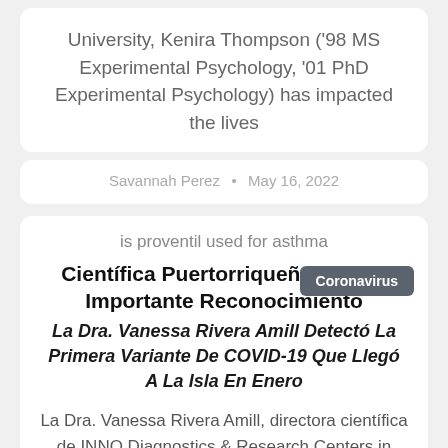University, Kenira Thompson ('98 MS Experimental Psychology, '01 PhD Experimental Psychology) has impacted the lives
Savannah Perez  •  May 16, 2022
is proventil used for asthma
Científica Puertorriqueña Recibe Importante Reconocimiento
La Dra. Vanessa Rivera Amill Detectó La Primera Variante De COVID-19 Que Llegó A La Isla En Enero
La Dra. Vanessa Rivera Amill, directora científica de INNO Diagnostics & Research Centers in Minority